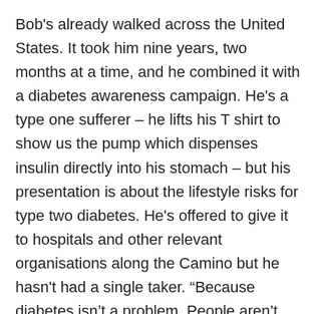Bob's already walked across the United States. It took him nine years, two months at a time, and he combined it with a diabetes awareness campaign. He's a type one sufferer – he lifts his T shirt to show us the pump which dispenses insulin directly into his stomach – but his presentation is about the lifestyle risks for type two diabetes. He's offered to give it to hospitals and other relevant organisations along the Camino but he hasn't had a single taker. “Because diabetes isn’t a problem. People aren’t obese here. That’s the message I’ll be taking back to the States.”